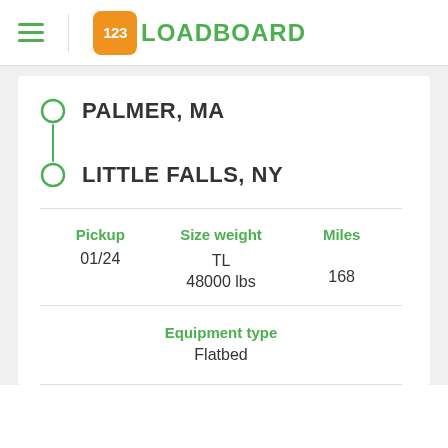[Figure (logo): 123Loadboard logo with orange square containing '123' in white and 'LOADBOARD' in green text]
PALMER, MA
LITTLE FALLS, NY
| Pickup | Size weight | Miles |
| --- | --- | --- |
| 01/24 | TL
48000 lbs | 168 |
Equipment type
Flatbed